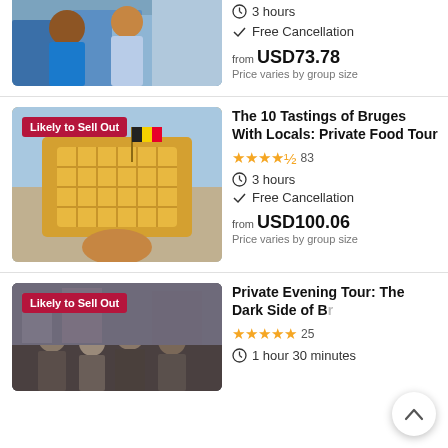[Figure (photo): Two people on a street tour, one in blue shirt, partial image at top]
3 hours
Free Cancellation
from USD73.78
Price varies by group size
[Figure (photo): Hand holding Belgian waffles with Belgian flag on a street, with Likely to Sell Out badge]
The 10 Tastings of Bruges With Locals: Private Food Tour
4.5 stars, 83 reviews
3 hours
Free Cancellation
from USD100.06
Price varies by group size
[Figure (photo): Group of tourists on evening tour, with Likely to Sell Out badge, partial image at bottom]
Private Evening Tour: The Dark Side of Br
5 stars, 25 reviews
1 hour 30 minutes